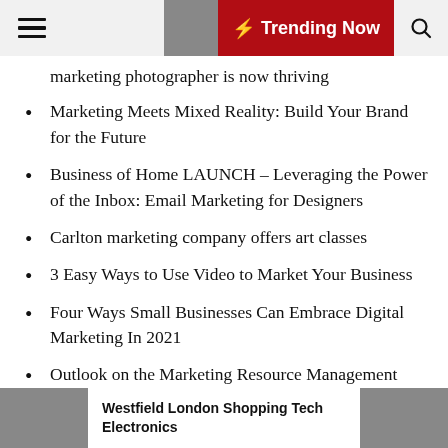≡  🌙  ⚡ Trending Now  🔍
marketing photographer is now thriving
Marketing Meets Mixed Reality: Build Your Brand for the Future
Business of Home LAUNCH – Leveraging the Power of the Inbox: Email Marketing for Designers
Carlton marketing company offers art classes
3 Easy Ways to Use Video to Market Your Business
Four Ways Small Businesses Can Embrace Digital Marketing In 2021
Outlook on the Marketing Resource Management Global Market to 2026 –
Westfield London Shopping Tech Electronics